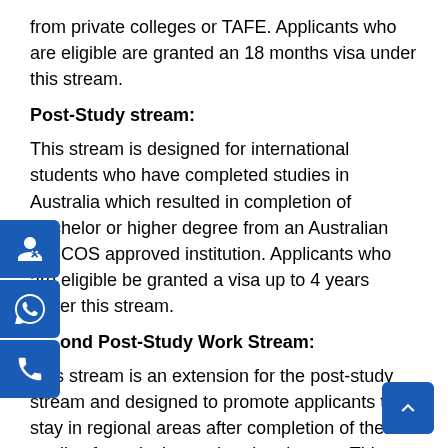from private colleges or TAFE. Applicants who are eligible are granted an 18 months visa under this stream.
Post-Study stream:
This stream is designed for international students who have completed studies in Australia which resulted in completion of Bachelor or higher degree from an Australian CRICOS approved institution. Applicants who are eligible be granted a visa up to 4 years under this stream.
Second Post-Study Work Stream:
This stream is an extension for the post-study stream and designed to promote applicants to stay in regional areas after completion of their studies from designated regional areas. This stream allows eligible applicants to apply for an extension of 1 or 2 years after continuing to live in a designated regional area for 2 years after completion of studies from designated regional areas. Please note: S